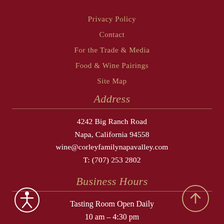Privacy Policy
Contact
For the Trade & Media
Food & Wine Pairings
Site Map
Address
4242 Big Ranch Road
Napa, California 94558
wine@corleyfamilynapavalley.com
T: (707) 253 2802
Business Hours
Tasting Room Open Daily
10 am – 4:30 pm
[Figure (illustration): Accessibility icon: circular figure with person symbol, white outline on dark red background, bottom left corner]
[Figure (illustration): Up arrow inside circle, gold/tan outline on dark red background, bottom right corner]